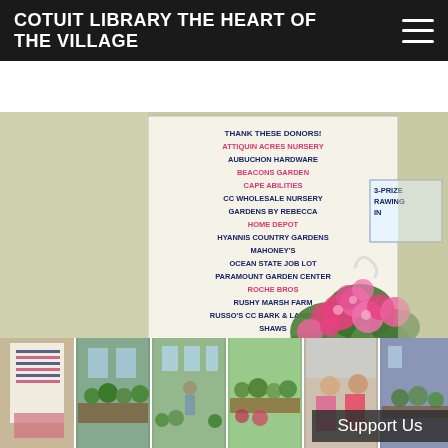COTUIT LIBRARY THE HEART OF THE VILLAGE
[Figure (photo): A sign listing event donors including Attiquin Acres Nursery, Aubuchon Hardware, Beacons Garden, Cape Abilities, CC Wholesale Nursery, Gardens By Rebecca, Home Depot, Hyannis Country Gardens, Mahoney's, Ocean State Job Lot, Paramount Garden Center, Roche Bros, Rushy Marsh Farm, Russo's CC Bark & Landscape, Shaws, Soares Flower Garden Bakery, Sprout, Star &, Weeksin, with pink geranium flowers in the foreground and a '3-Prize Drawing' sign partially visible on the right.]
[Figure (photo): Thumbnail strip of 6 photos showing various views of the plant sale event inside a hall, including plant displays and two women posing.]
Support Us